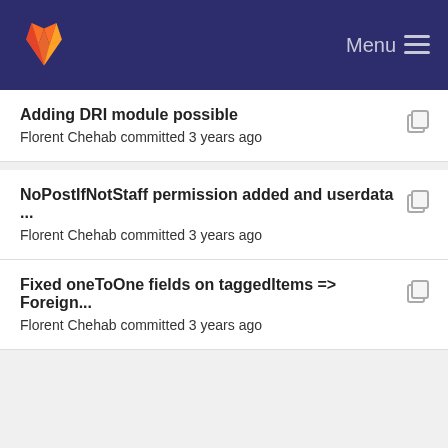Menu
Adding DRI module possible
Florent Chehab committed 3 years ago
NoPostIfNotStaff permission added and userdata ...
Florent Chehab committed 3 years ago
Fixed oneToOne fields on taggedItems => Foreign...
Florent Chehab committed 3 years ago
Big Update : moderation and viewset permissions ce...
Florent Chehab committed 3 years ago